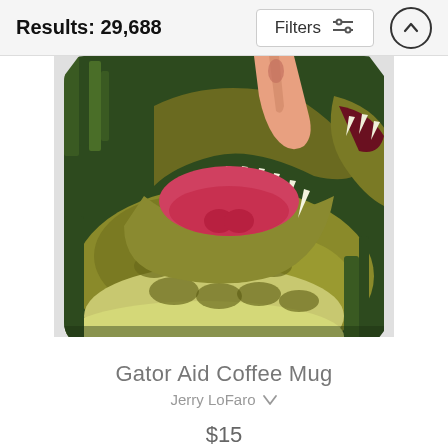Results: 29,688
Filters
[Figure (photo): A coffee mug with a photo wrap showing alligators with open mouths and a hand, green grass background. The mug is white with a curved shape, showing partial mug silhouette at sides.]
Gator Aid Coffee Mug
Jerry LoFaro ✓
$15